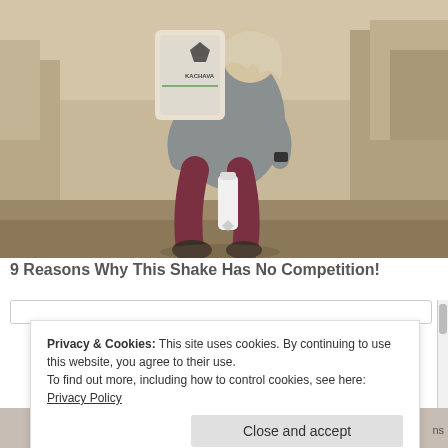[Figure (photo): Woman crouching outdoors on rocky desert terrain, holding a white Kachava nutrition supplement bag with a white water bottle at her feet. Canyon rock formations visible in background.]
9 Reasons Why This Shake Has No Competition!
Privacy & Cookies: This site uses cookies. By continuing to use this website, you agree to their use. To find out more, including how to control cookies, see here: Privacy Policy
Close and accept